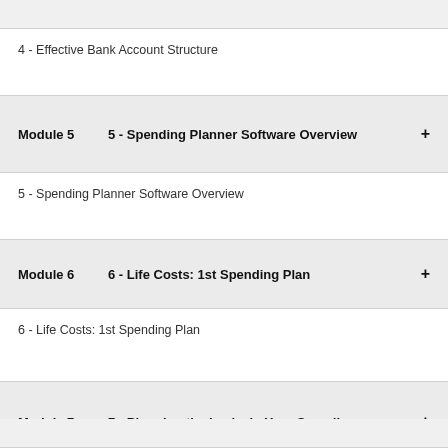4 - Effective Bank Account Structure
Module 5   5 - Spending Planner Software Overview
5 - Spending Planner Software Overview
Module 6   6 - Life Costs: 1st Spending Plan
6 - Life Costs: 1st Spending Plan
Module 7   7 - Plugging the Leaks in Your Spending
7 - Plugging the Leaks in Your Spending